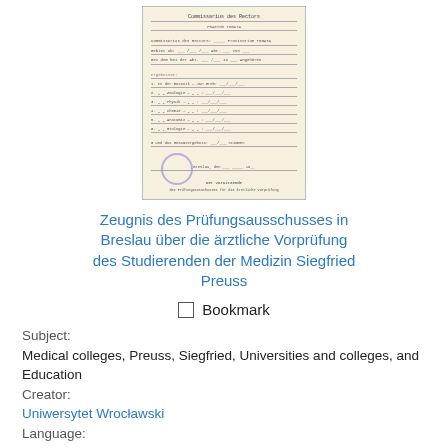[Figure (photo): Scanned historical German medical examination document with text lines, a circular official stamp, and a signature at the bottom.]
Zeugnis des Prüfungsausschusses in Breslau über die ärztliche Vorprüfung des Studierenden der Medizin Siegfried Preuss
Bookmark
Subject:
Medical colleges, Preuss, Siegfried, Universities and colleges, and Education
Creator:
Uniwersytet Wrocławski
Language:
ger